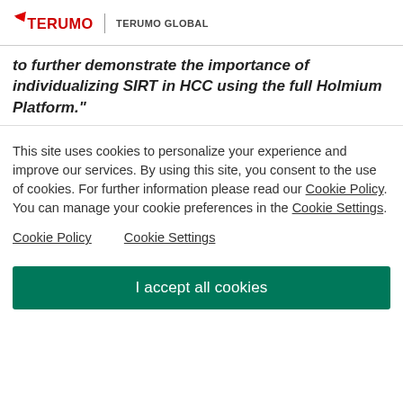TERUMO   TERUMO GLOBAL
to further demonstrate the importance of individualizing SIRT in HCC using the full Holmium Platform."
This site uses cookies to personalize your experience and improve our services. By using this site, you consent to the use of cookies. For further information please read our Cookie Policy. You can manage your cookie preferences in the Cookie Settings.
Cookie Policy   Cookie Settings
I accept all cookies